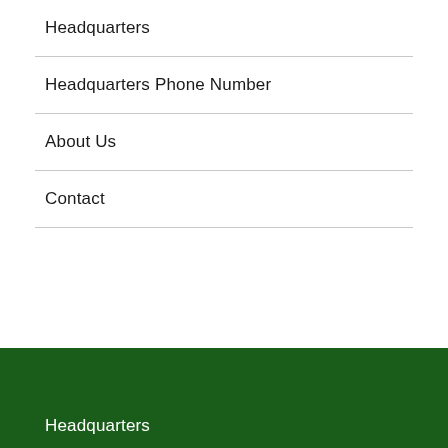Headquarters
Headquarters Phone Number
About Us
Contact
Headquarters